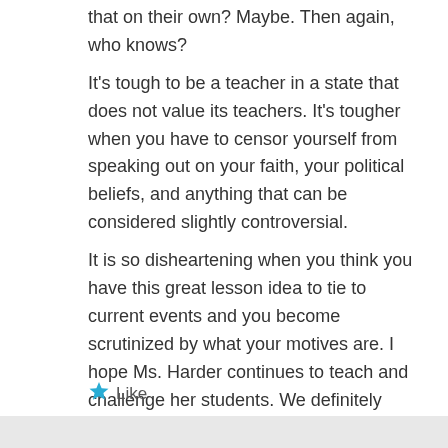that on their own? Maybe. Then again, who knows?
It's tough to be a teacher in a state that does not value its teachers. It's tougher when you have to censor yourself from speaking out on your faith, your political beliefs, and anything that can be considered slightly controversial.
It is so disheartening when you think you have this great lesson idea to tie to current events and you become scrutinized by what your motives are. I hope Ms. Harder continues to teach and challenge her students. We definitely can't afford to lose another good teacher in NC.
Like